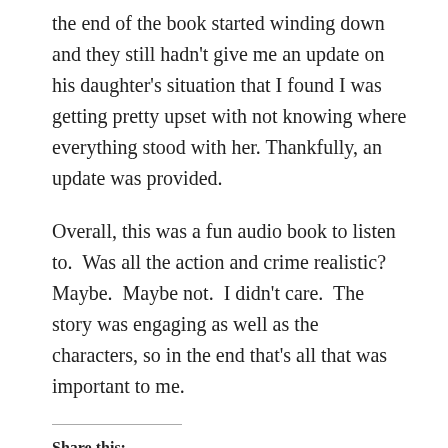the end of the book started winding down and they still hadn't give me an update on his daughter's situation that I found I was getting pretty upset with not knowing where everything stood with her. Thankfully, an update was provided.
Overall, this was a fun audio book to listen to.  Was all the action and crime realistic?  Maybe.  Maybe not.  I didn't care.  The story was engaging as well as the characters, so in the end that's all that was important to me.
Share this:
Twitter | Facebook